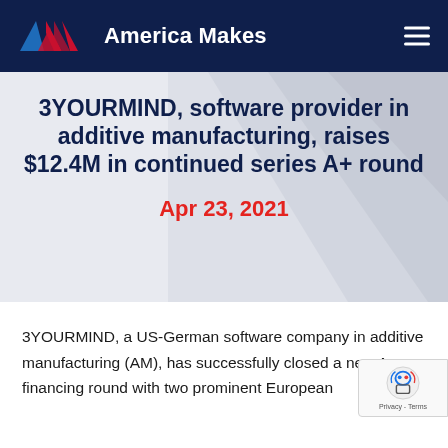America Makes
3YOURMIND, software provider in additive manufacturing, raises $12.4M in continued series A+ round
Apr 23, 2021
3YOURMIND, a US-German software company in additive manufacturing (AM), has successfully closed a new A+ financing round with two prominent European